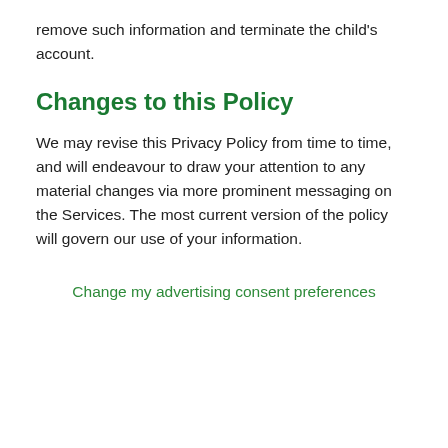remove such information and terminate the child's account.
Changes to this Policy
We may revise this Privacy Policy from time to time, and will endeavour to draw your attention to any material changes via more prominent messaging on the Services. The most current version of the policy will govern our use of your information.
Change my advertising consent preferences